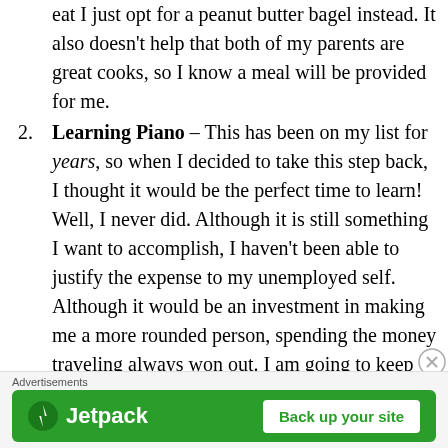eat I just opt for a peanut butter bagel instead. It also doesn't help that both of my parents are great cooks, so I know a meal will be provided for me.
Learning Piano – This has been on my list for years, so when I decided to take this step back, I thought it would be the perfect time to learn! Well, I never did. Although it is still something I want to accomplish, I haven't been able to justify the expense to my unemployed self. Although it would be an investment in making me a more rounded person, spending the money traveling always won out. I am going to keep telling myself that this will happen soon!
Advertisements
[Figure (infographic): Jetpack advertisement banner with green background, Jetpack logo and lightning bolt icon on the left, and a 'Back up your site' button on the right.]